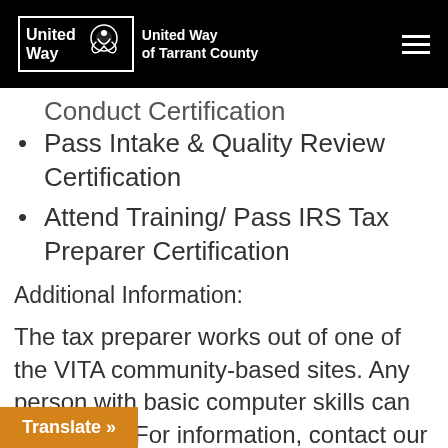United Way | United Way of Tarrant County
Conduct Certification
Pass Intake & Quality Review Certification
Attend Training/ Pass IRS Tax Preparer Certification
Additional Information:
The tax preparer works out of one of the VITA community-based sites. Any person with basic computer skills can be trained. For information, contact our 17-258-8062 or